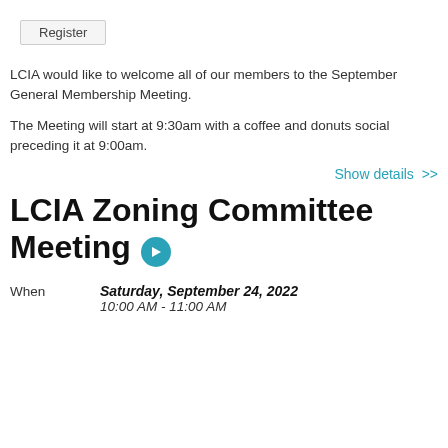[Figure (other): Register button]
LCIA would like to welcome all of our members to the September General Membership Meeting.
The Meeting will start at 9:30am with a coffee and donuts social preceding it at 9:00am.
Show details  >>
LCIA Zoning Committee Meeting
When   Saturday, September 24, 2022   10:00 AM - 11:00 AM